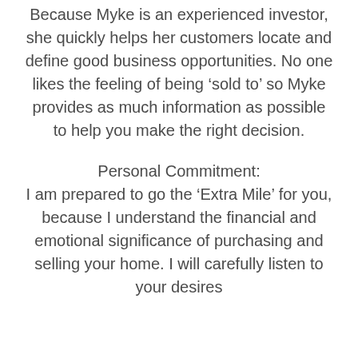Because Myke is an experienced investor, she quickly helps her customers locate and define good business opportunities. No one likes the feeling of being ‘sold to’ so Myke provides as much information as possible to help you make the right decision.
Personal Commitment:
I am prepared to go the ‘Extra Mile’ for you, because I understand the financial and emotional significance of purchasing and selling your home. I will carefully listen to your desires